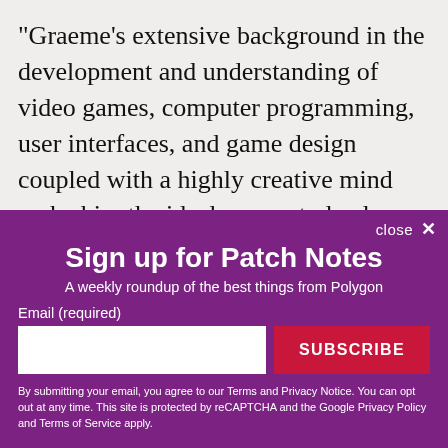"Graeme's extensive background in the development and understanding of video games, computer programming, user interfaces, and game design coupled with a highly creative mind make him the ideal person to lead our inner-space exploration of how interactive play is taking form in Cinematic
close ✕
Sign up for Patch Notes
A weekly roundup of the best things from Polygon
Email (required)
SUBSCRIBE
By submitting your email, you agree to our Terms and Privacy Notice. You can opt out at any time. This site is protected by reCAPTCHA and the Google Privacy Policy and Terms of Service apply.